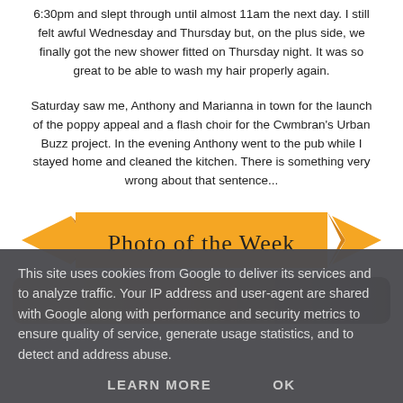6:30pm and slept through until almost 11am the next day. I still felt awful Wednesday and Thursday but, on the plus side, we finally got the new shower fitted on Thursday night. It was so great to be able to wash my hair properly again.
Saturday saw me, Anthony and Marianna in town for the launch of the poppy appeal and a flash choir for the Cwmbran's Urban Buzz project. In the evening Anthony went to the pub while I stayed home and cleaned the kitchen. There is something very wrong about that sentence...
[Figure (illustration): Orange decorative ribbon banner with text 'Photo of the Week' in serif font]
[Figure (photo): Partial photo visible at bottom, showing brownish texture on left and dark area on right]
This site uses cookies from Google to deliver its services and to analyze traffic. Your IP address and user-agent are shared with Google along with performance and security metrics to ensure quality of service, generate usage statistics, and to detect and address abuse.
LEARN MORE    OK